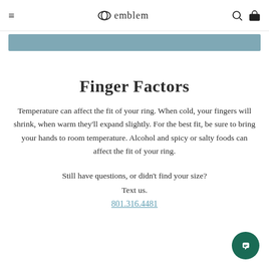emblem
[Figure (other): Blue banner strip, partially visible promotional banner]
Finger Factors
Temperature can affect the fit of your ring. When cold, your fingers will shrink, when warm they'll expand slightly. For the best fit, be sure to bring your hands to room temperature. Alcohol and spicy or salty foods can affect the fit of your ring.
Still have questions, or didn't find your size?
Text us.
801.316.4481